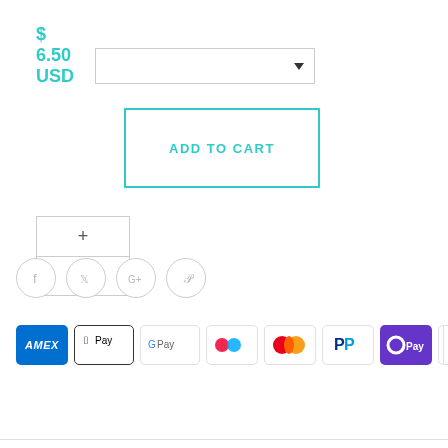$ 6.50 USD
[Figure (screenshot): Dropdown selector input box with arrow]
[Figure (screenshot): Quantity selector with + and - buttons, and Add to Cart button]
[Figure (screenshot): Social sharing icons: Facebook, Twitter, Google+, Pinterest]
[Figure (screenshot): Payment method icons: Amex, Apple Pay, Google Pay, Klarna, Mastercard, PayPal, OPay, Visa]